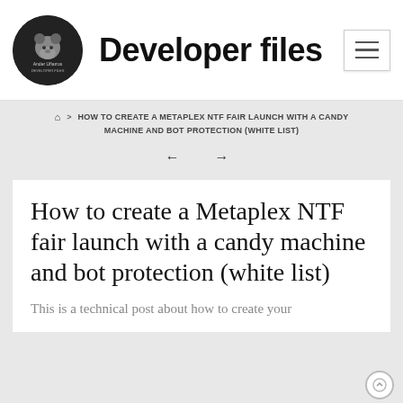Developer files
HOW TO CREATE A METAPLEX NTF FAIR LAUNCH WITH A CANDY MACHINE AND BOT PROTECTION (WHITE LIST)
How to create a Metaplex NTF fair launch with a candy machine and bot protection (white list)
This is a technical post about how to create your